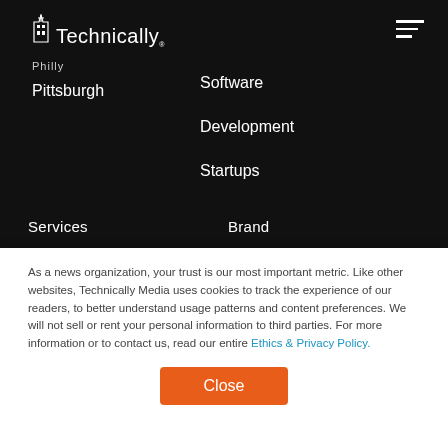[Figure (logo): Technically Media logo with building/tower icon and wordmark in white on dark background]
Philly
Pittsburgh
Software Development
Startups
Services
Brand
As a news organization, your trust is our most important metric. Like other websites, Technically Media uses cookies to track the experience of our readers, to better understand usage patterns and content preferences. We will not sell or rent your personal information to third parties. For more information or to contact us, read our entire Ethics & Privacy Policy.
Close